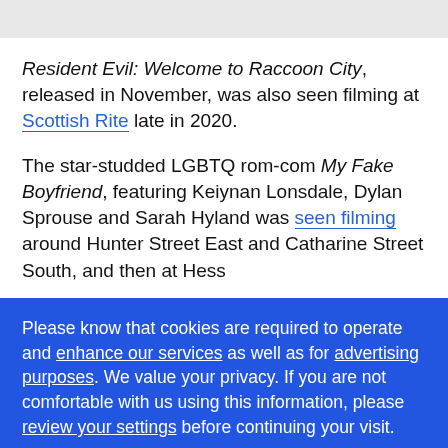Resident Evil: Welcome to Raccoon City, released in November, was also seen filming at Scottish Rite late in 2020.
The star-studded LGBTQ rom-com My Fake Boyfriend, featuring Keiynan Lonsdale, Dylan Sprouse and Sarah Hyland was seen filming around Hunter Street East and Catharine Street South, and then at Hess
Please know that cookies are required to operate and enhance our services as well as for advertising purposes. We value your privacy. If you are not comfortable with us using this information, please review your settings before continuing your visit.